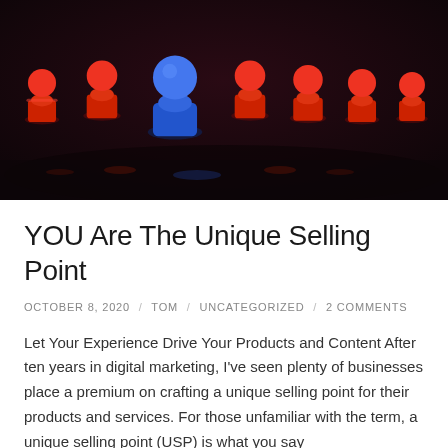[Figure (photo): Row of red pawn figurines on a dark reflective surface with one blue pawn standing out in front/center among the red ones, representing uniqueness and differentiation.]
YOU Are The Unique Selling Point
OCTOBER 8, 2020 / TOM / UNCATEGORIZED / 2 COMMENTS
Let Your Experience Drive Your Products and Content After ten years in digital marketing, I've seen plenty of businesses place a premium on crafting a unique selling point for their products and services. For those unfamiliar with the term, a unique selling point (USP) is what you say